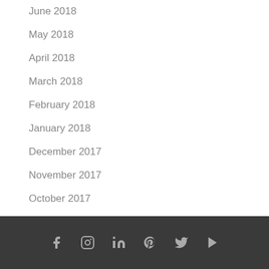June 2018
May 2018
April 2018
March 2018
February 2018
January 2018
December 2017
November 2017
October 2017
September 2017
Social media icons: Facebook, Instagram, LinkedIn, Pinterest, Twitter, YouTube